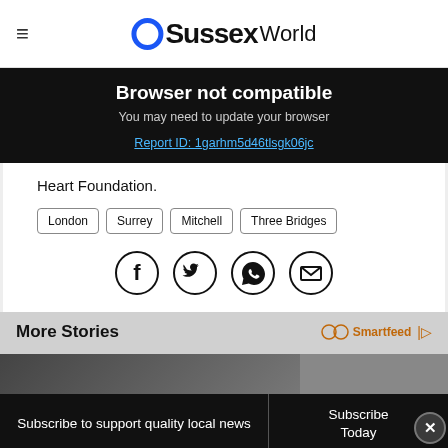OSussex World
Browser not compatible
You may need to update your browser
Report ID: 1garhm5d46tlsgk06jc
Heart Foundation.
London
Surrey
Mitchell
Three Bridges
[Figure (infographic): Social share icons: Facebook, Twitter, WhatsApp, Email]
More Stories
Smartfeed
[Figure (photo): News story image strip showing faces]
Subscribe to support quality local news
Subscribe Today